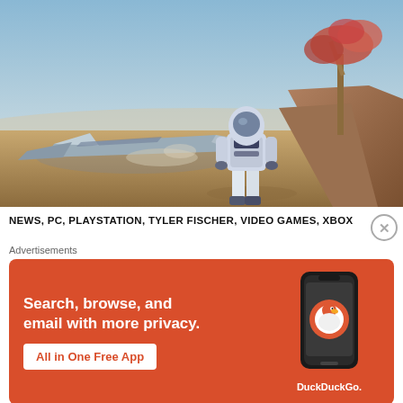[Figure (screenshot): Video game screenshot showing a space-suited figure standing in a desert landscape with a crashed spacecraft and a red-leafed tree in the background, under a blue sky.]
NEWS, PC, PLAYSTATION, TYLER FISCHER, VIDEO GAMES, XBOX
[Figure (infographic): DuckDuckGo advertisement banner with orange background. Text: 'Search, browse, and email with more privacy. All in One Free App' with a DuckDuckGo logo on a smartphone mockup.]